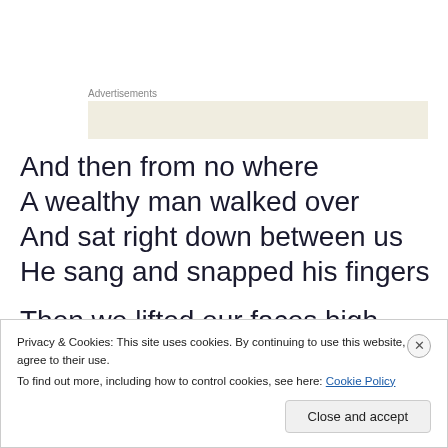Advertisements
[Figure (other): Advertisement placeholder box with beige/cream background]
And then from no where
A wealthy man walked over
And sat right down between us
He sang and snapped his fingers
Then we lifted our faces high
Privacy & Cookies: This site uses cookies. By continuing to use this website, you agree to their use.
To find out more, including how to control cookies, see here: Cookie Policy